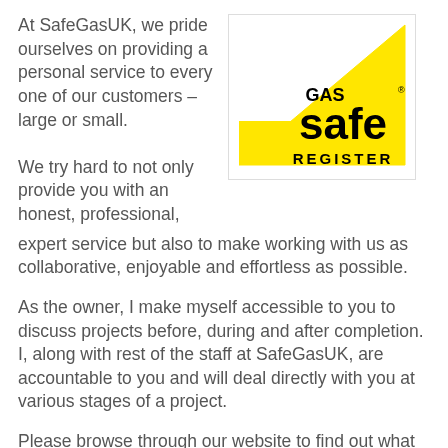At SafeGasUK, we pride ourselves on providing a personal service to every one of our customers – large or small.
[Figure (logo): Gas Safe Register logo — yellow triangle with 'GAS safe REGISTER' text in black]
We try hard to not only provide you with an honest, professional, expert service but also to make working with us as collaborative, enjoyable and effortless as possible.
As the owner, I make myself accessible to you to discuss projects before, during and after completion. I, along with rest of the staff at SafeGasUK, are accountable to you and will deal directly with you at various stages of a project.
Please browse through our website to find out what we do, who for, why you should use SafeGasUK and ultimately what we can do for you.
If you're looking for assistance or just want to talk through your project with an expert, please contact us or take a look